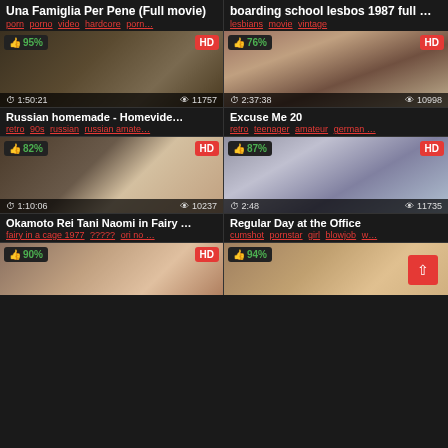[Figure (screenshot): Video thumbnail grid showing adult video website with thumbnails, titles, tags, view counts and duration]
Una Famiglia Per Pene (Full movie)
porn porno video hardcore porn...
boarding school lesbos 1987 full ...
lesbians movie vintage
95% | HD | 1:50:21 | 11757
Russian homemade - Homevide...
retro 90s russian russian amate...
76% | HD | 2:37:38 | 10998
Excuse Me 20
retro teenager amateur german ...
82% | HD | 1:10:06 | 10237
Okamoto Rei Tani Naomi in Fairy ...
fairy in a cage 1977 ????? ori no ...
87% | HD | 2:48 | 11735
Regular Day at the Office
cumshot pornstar girl blowjob w...
90% | HD | (partial)
94% | (partial)